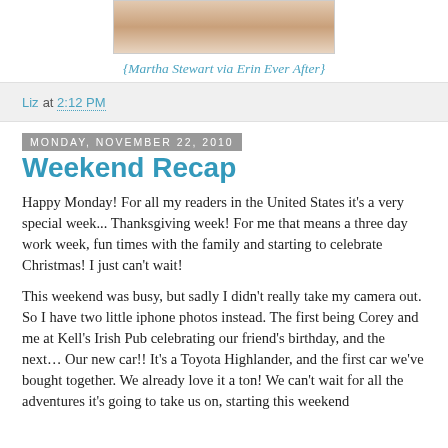[Figure (photo): Partial image of a decorative object at the top of the page]
{Martha Stewart via Erin Ever After}
Liz at 2:12 PM
Monday, November 22, 2010
Weekend Recap
Happy Monday! For all my readers in the United States it's a very special week... Thanksgiving week! For me that means a three day work week, fun times with the family and starting to celebrate Christmas! I just can't wait!
This weekend was busy, but sadly I didn't really take my camera out. So I have two little iphone photos instead. The first being Corey and me at Kell's Irish Pub celebrating our friend's birthday, and the next… Our new car!! It's a Toyota Highlander, and the first car we've bought together. We already love it a ton! We can't wait for all the adventures it's going to take us on, starting this weekend